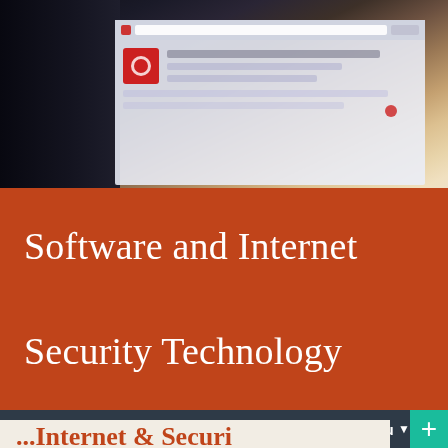[Figure (screenshot): Photo banner showing a blurred laptop/tablet screen with a web browser open, dark background with device visible]
Software and Internet Security Technology
Menu +
...